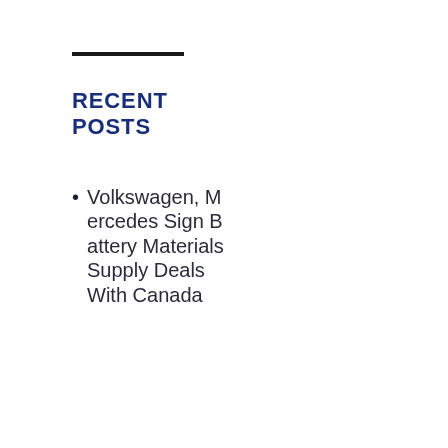RECENT POSTS
Volkswagen, Mercedes Sign Battery Materials Supply Deals With Canada